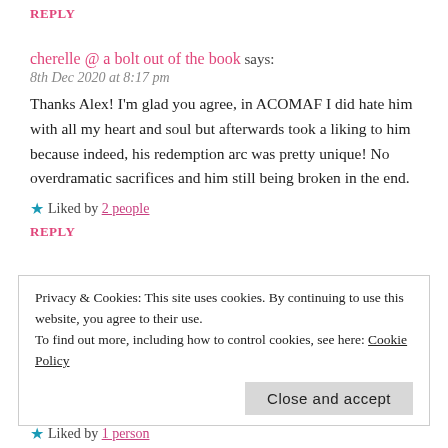REPLY
cherelle @ a bolt out of the book says:
8th Dec 2020 at 8:17 pm
Thanks Alex! I'm glad you agree, in ACOMAF I did hate him with all my heart and soul but afterwards took a liking to him because indeed, his redemption arc was pretty unique! No overdramatic sacrifices and him still being broken in the end.
★ Liked by 2 people
REPLY
Alex @ The Scribe Owl says:
Privacy & Cookies: This site uses cookies. By continuing to use this website, you agree to their use. To find out more, including how to control cookies, see here: Cookie Policy
Close and accept
★ Liked by 1 person